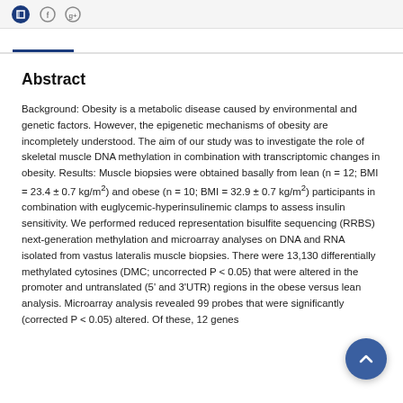Abstract
Background: Obesity is a metabolic disease caused by environmental and genetic factors. However, the epigenetic mechanisms of obesity are incompletely understood. The aim of our study was to investigate the role of skeletal muscle DNA methylation in combination with transcriptomic changes in obesity. Results: Muscle biopsies were obtained basally from lean (n = 12; BMI = 23.4 ± 0.7 kg/m²) and obese (n = 10; BMI = 32.9 ± 0.7 kg/m²) participants in combination with euglycemic-hyperinsulinemic clamps to assess insulin sensitivity. We performed reduced representation bisulfite sequencing (RRBS) next-generation methylation and microarray analyses on DNA and RNA isolated from vastus lateralis muscle biopsies. There were 13,130 differentially methylated cytosines (DMC; uncorrected P < 0.05) that were altered in the promoter and untranslated (5' and 3'UTR) regions in the obese versus lean analysis. Microarray analysis revealed 99 probes that were significantly (corrected P < 0.05) altered. Of these, 12 genes